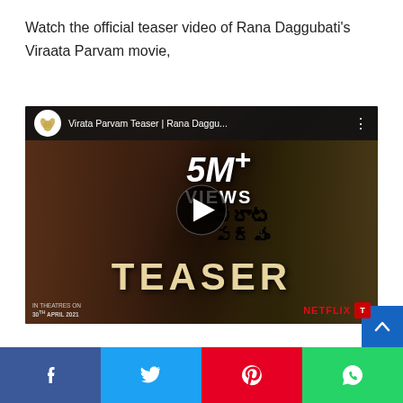Watch the official teaser video of Rana Daggubati's Viraata Parvam movie,
[Figure (screenshot): YouTube video thumbnail for 'Virata Parvam Teaser | Rana Daggu...' showing 5M+ VIEWS overlay, a smiling woman on the left side, a bearded man in military clothing on the right, Telugu movie title text in the center, TEASER text at the bottom, IN THEATRES ON 30TH APRIL 2021 at bottom-left, and NETFLIX logo at bottom-right. A circular play button is centered on the thumbnail. The video title bar shows a lotus/flower logo, the video title, and a three-dot menu.]
Share buttons: Facebook, Twitter, Pinterest, WhatsApp